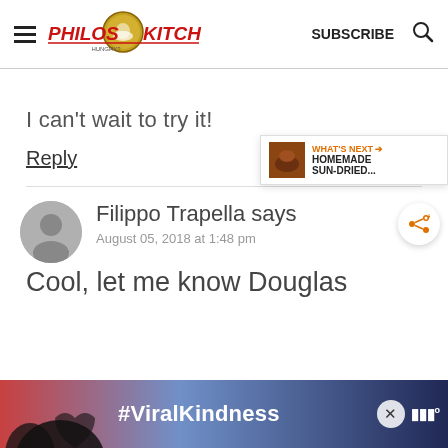[Figure (logo): Philos Kitchen website logo with hamburger menu, text logo, SUBSCRIBE link, and search icon]
I can't wait to try it!
Reply
Filippo Trapella says
August 05, 2018 at 1:48 pm
[Figure (infographic): WHAT'S NEXT arrow with HOMEMADE SUN-DRIED... thumbnail widget]
Cool, let me know Douglas
[Figure (photo): Ad banner with silhouette of hands making heart shape and #ViralKindness text]